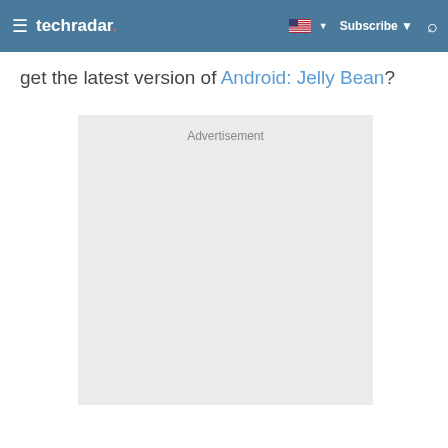techradar
get the latest version of Android: Jelly Bean?
[Figure (other): Advertisement placeholder box with light gray background and 'Advertisement' label at the top center]